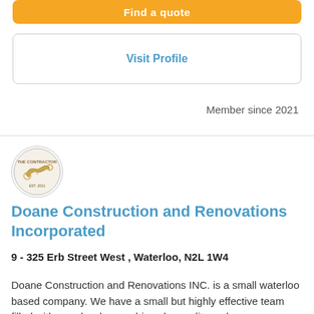Find a quote
Visit Profile
Member since 2021
[Figure (logo): Doane Construction and Renovations Incorporated circular logo with illustration]
Doane Construction and Renovations Incorporated
9 - 325 Erb Street West , Waterloo, N2L 1W4
Doane Construction and Renovations INC. is a small waterloo based company. We have a small but highly effective team filled with people who are driven by quality and